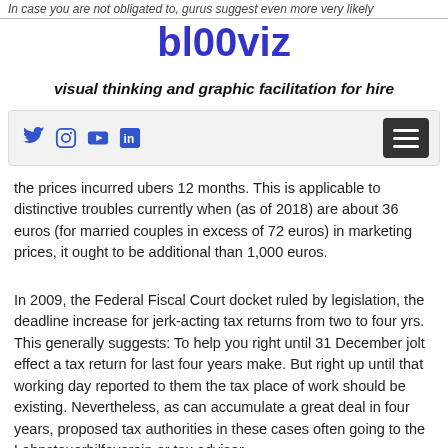In case you are not obligated to, gurus suggest even more very likely
bl00viz
visual thinking and graphic facilitation for hire
the prices incurred ubers 12 months. This is applicable to distinctive troubles currently when (as of 2018) are about 36 euros (for married couples in excess of 72 euros) in marketing prices, it ought to be additional than 1,000 euros.
In 2009, the Federal Fiscal Court docket ruled by legislation, the deadline increase for jerk-acting tax returns from two to four yrs. This generally suggests: To help you right until 31 December jolt effect a tax return for last four years make. But right up until that working day reported to them the tax place of work should be existing. Nevertheless, as can accumulate a great deal in four years, proposed tax authorities in these cases often going to the Lohnsteuerhilfeverein or tax advisor.